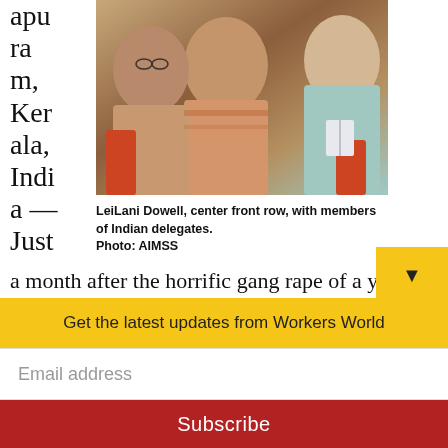apuram, Kerala, India — Just
[Figure (photo): Group photo of women seated in chairs, LeiLani Dowell center front row with members of Indian delegates]
LeiLani Dowell, center front row, with members of Indian delegates.
Photo: AIMSS
a month after the horrific gang rape of a young woman in Delhi, India, sparked militant marches of thousands throughout the country, a national conference of Indian women was held to build, organize and
Get the latest updates from Workers World
Email address
Subscribe